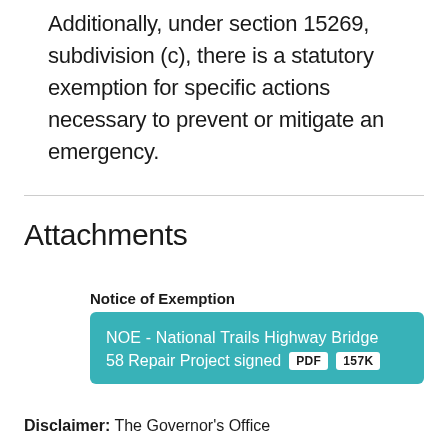Additionally, under section 15269, subdivision (c), there is a statutory exemption for specific actions necessary to prevent or mitigate an emergency.
Attachments
Notice of Exemption
NOE - National Trails Highway Bridge 58 Repair Project signed  PDF  157K
Disclaimer: The Governor's Office